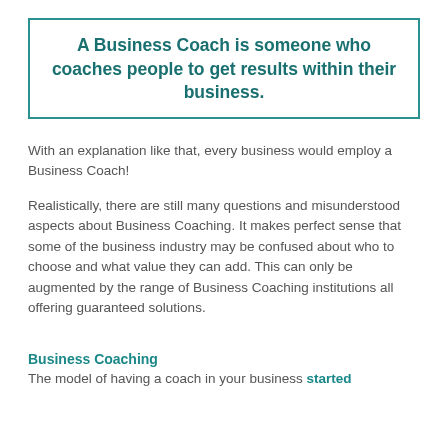A Business Coach is someone who coaches people to get results within their business.
With an explanation like that, every business would employ a Business Coach!
Realistically, there are still many questions and misunderstood aspects about Business Coaching. It makes perfect sense that some of the business industry may be confused about who to choose and what value they can add. This can only be augmented by the range of Business Coaching institutions all offering guaranteed solutions.
Business Coaching
The model of having a coach in your business started